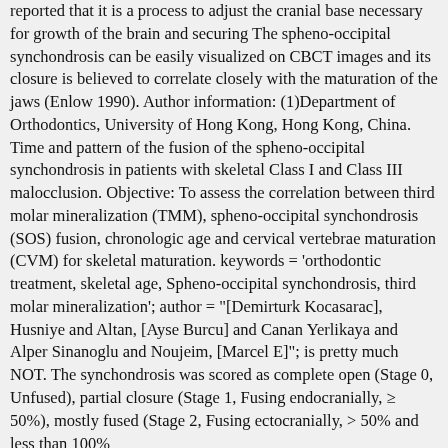reported that it is a process to adjust the cranial base necessary for growth of the brain and securing The spheno-occipital synchondrosis can be easily visualized on CBCT images and its closure is believed to correlate closely with the maturation of the jaws (Enlow 1990). Author information: (1)Department of Orthodontics, University of Hong Kong, Hong Kong, China. Time and pattern of the fusion of the spheno-occipital synchondrosis in patients with skeletal Class I and Class III malocclusion. Objective: To assess the correlation between third molar mineralization (TMM), spheno-occipital synchondrosis (SOS) fusion, chronologic age and cervical vertebrae maturation (CVM) for skeletal maturation. keywords = 'orthodontic treatment, skeletal age, Spheno-occipital synchondrosis, third molar mineralization'; author = "[Demirturk Kocasarac], Husniye and Altan, [Ayse Burcu] and Canan Yerlikaya and Alper Sinanoglu and Noujeim, [Marcel E]"; is pretty much NOT. The synchondrosis was scored as complete open (Stage 0, Unfused), partial closure (Stage 1, Fusing endocranially, ≥ 50%), mostly fused (Stage 2, Fusing ectocranially, > 50% and less than 100%